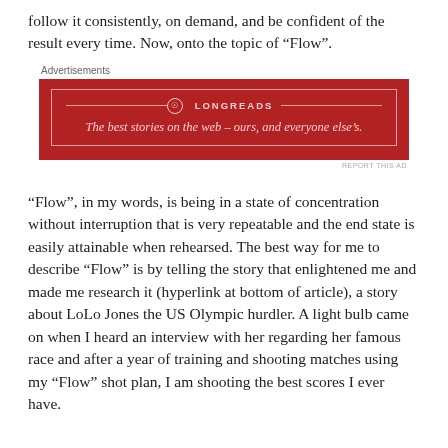follow it consistently, on demand, and be confident of the result every time. Now, onto the topic of “Flow”.
[Figure (other): Longreads advertisement banner: red background with the Longreads logo and tagline ‘The best stories on the web – ours, and everyone else’s.’]
“Flow”, in my words, is being in a state of concentration without interruption that is very repeatable and the end state is easily attainable when rehearsed. The best way for me to describe “Flow” is by telling the story that enlightened me and made me research it (hyperlink at bottom of article), a story about LoLo Jones the US Olympic hurdler. A light bulb came on when I heard an interview with her regarding her famous race and after a year of training and shooting matches using my “Flow” shot plan, I am shooting the best scores I ever have.